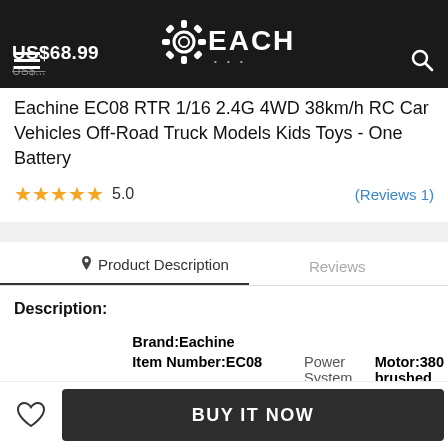US$68.99 [strikethrough price] EACHINE [logo]
Eachine EC08 RTR 1/16 2.4G 4WD 38km/h RC Car Vehicles Off-Road Truck Models Kids Toys - One Battery
★★★★★ 5.0 (Reviews 1)
Product Description | Reviews
Description:
|  |  | Power System |  |
| --- | --- | --- | --- |
|  | Brand:Eachine |  |  |
|  | Item Number:EC08 | Power System | Motor:380 brushed motor |
| Basic information | Scale:1/16 |  |  |
|  | Color:Blue |  |  |
|  | Max Speed:38km/h |  | Battery for the |